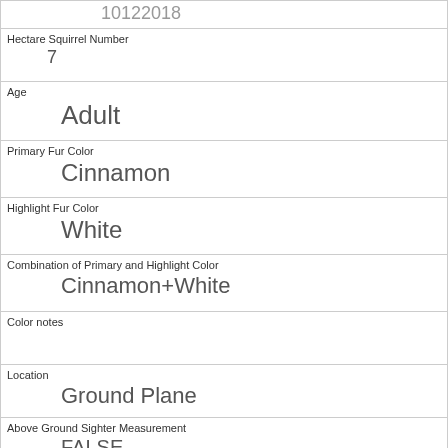| Field | Value |
| --- | --- |
| 10122018 |  |
| Hectare Squirrel Number | 7 |
| Age | Adult |
| Primary Fur Color | Cinnamon |
| Highlight Fur Color | White |
| Combination of Primary and Highlight Color | Cinnamon+White |
| Color notes |  |
| Location | Ground Plane |
| Above Ground Sighter Measurement | FALSE |
| Specific Location | elevated ground |
| Running | 0 |